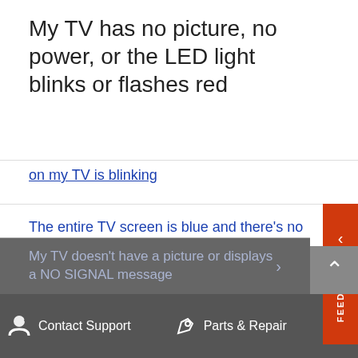My TV has no picture, no power, or the LED light blinks or flashes red
on my TV is blinking
The entire TV screen is blue and there's no picture
BRAVIA TV troubleshooting guide
How do I power reset my LCD / LED or Projection TV?
My TV doesn't have a picture or displays a NO SIGNAL message
Contact Support   Parts & Repair